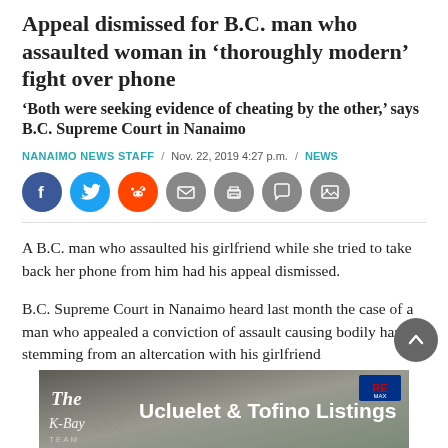Appeal dismissed for B.C. man who assaulted woman in ‘thoroughly modern’ fight over phone
‘Both were seeking evidence of cheating by the other,’ says B.C. Supreme Court in Nanaimo
NANAIMO NEWS STAFF / Nov. 22, 2019 4:27 p.m. / NEWS
[Figure (other): Social media sharing icons: Facebook, Twitter, Reddit, Email, Print, Comment, Image]
A B.C. man who assaulted his girlfriend while she tried to take back her phone from him had his appeal dismissed.
B.C. Supreme Court in Nanaimo heard last month the case of a man who appealed a conviction of assault causing bodily harm stemming from an altercation with his girlfriend
[Figure (other): Advertisement banner: The K-Bay Team — Ucluelet & Tofino Listings, with RE/MAX logo]